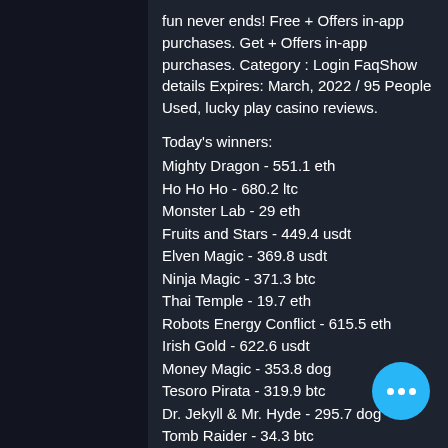fun never ends! Free + Offers in-app purchases. Get + Offers in-app purchases. Category : Login FaqShow details Expires: March, 2022 / 95 People Used, lucky play casino reviews.
Today's winners:
Mighty Dragon - 551.1 eth
Ho Ho Ho - 680.2 ltc
Monster Lab - 29 eth
Fruits and Stars - 449.4 usdt
Elven Magic - 369.8 usdt
Ninja Magic - 371.3 btc
Thai Temple - 19.7 eth
Robots Energy Conflict - 615.5 eth
Irish Gold - 622.6 usdt
Money Magic - 353.8 dog
Tesoro Pirata - 319.9 btc
Dr. Jekyll & Mr. Hyde - 295.7 dog
Tomb Raider - 34.3 btc
Dinosaur Adventure - 280.4 dog